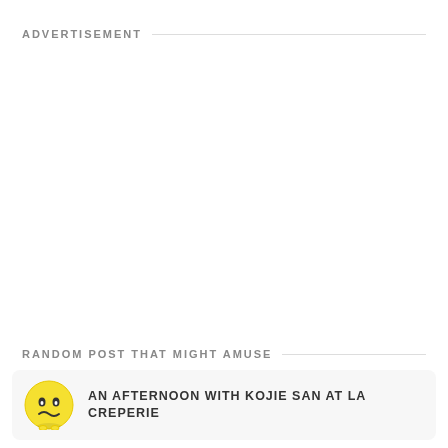ADVERTISEMENT
RANDOM POST THAT MIGHT AMUSE
AN AFTERNOON WITH KOJIE SAN AT LA CREPERIE